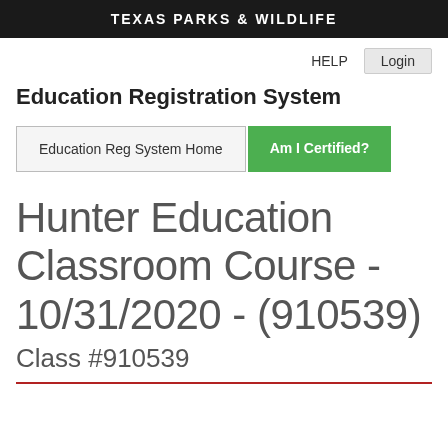TEXAS PARKS & WILDLIFE
HELP   Login
Education Registration System
Education Reg System Home   Am I Certified?
Hunter Education Classroom Course - 10/31/2020 - (910539)
Class #910539